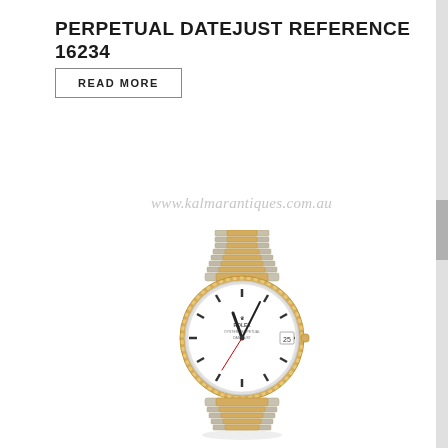PERPETUAL DATEJUST REFERENCE 16234
READ MORE
www.kalmarantiques.com.au
[Figure (photo): A Rolex Perpetual Datejust Reference 16234 wristwatch with two-tone stainless steel and yellow gold jubilee bracelet, white dial with baton hour markers, fluted yellow gold bezel, and date window at 3 o'clock position.]